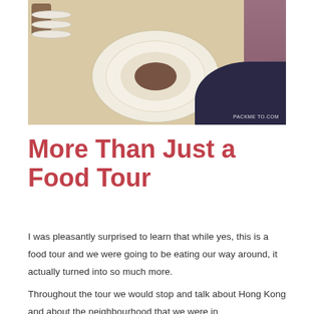[Figure (photo): A plate of rolled crepes or spring rolls with chocolate sauce drizzled on top, served on a decorative white plate on a round beige table. A brown cup is visible in the background along with stacked plates. A person in purple/mauve clothing is partially visible at the right edge. Watermark reads PACKME TO.COM in the bottom right corner.]
More Than Just a Food Tour
I was pleasantly surprised to learn that while yes, this is a food tour and we were going to be eating our way around, it actually turned into so much more.
Throughout the tour we would stop and talk about Hong Kong and about the neighbourhood that we were in